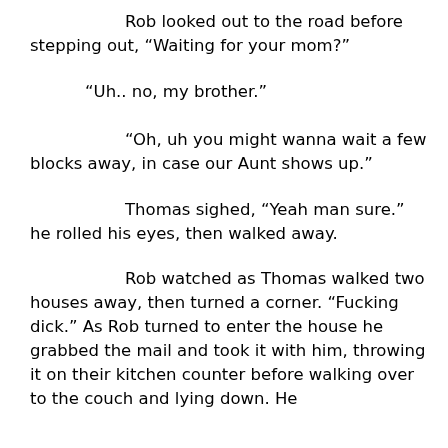Rob looked out to the road before stepping out, “Waiting for your mom?”
“Uh.. no, my brother.”
“Oh, uh you might wanna wait a few blocks away, in case our Aunt shows up.”
Thomas sighed, “Yeah man sure.” he rolled his eyes, then walked away.
Rob watched as Thomas walked two houses away, then turned a corner. “Fucking dick.” As Rob turned to enter the house he grabbed the mail and took it with him, throwing it on their kitchen counter before walking over to the couch and lying down. He